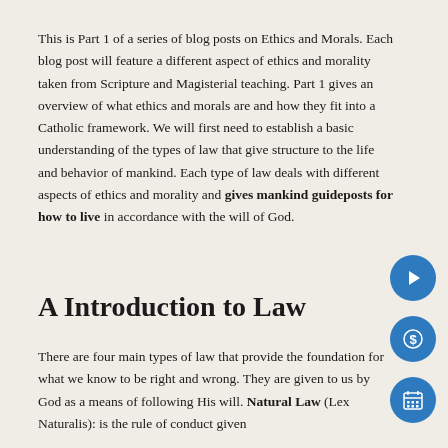This is Part 1 of a series of blog posts on Ethics and Morals. Each blog post will feature a different aspect of ethics and morality taken from Scripture and Magisterial teaching. Part 1 gives an overview of what ethics and morals are and how they fit into a Catholic framework. We will first need to establish a basic understanding of the types of law that give structure to the life and behavior of mankind. Each type of law deals with different aspects of ethics and morality and gives mankind guideposts for how to live in accordance with the will of God.
A Introduction to Law
There are four main types of law that provide the foundation for what we know to be right and wrong. They are given to us by God as a means of following His will. Natural Law (Lex Naturalis): is the rule of conduct given